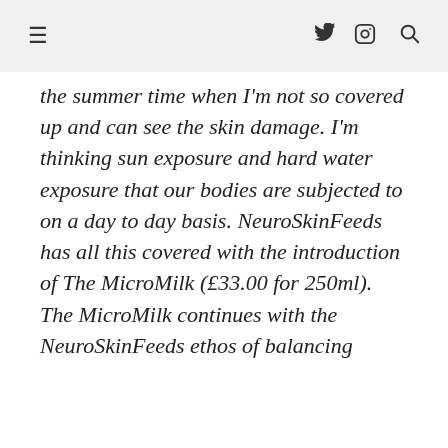≡  𝕏 📷 🔍
the summer time when I'm not so covered up and can see the skin damage. I'm thinking sun exposure and hard water exposure that our bodies are subjected to on a day to day basis. NeuroSkinFeeds has all this covered with the introduction of The MicroMilk (£33.00 for 250ml). The MicroMilk continues with the NeuroSkinFeeds ethos of balancing